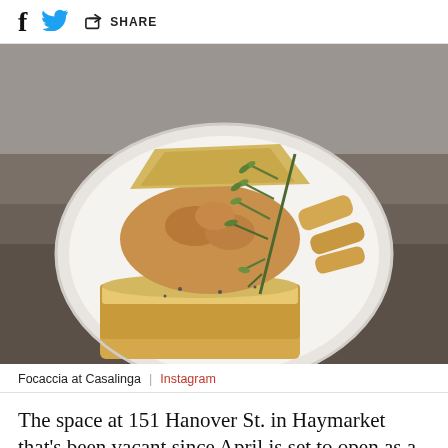f [twitter bird icon] [share icon] SHARE
[Figure (photo): A white plate with focaccia bread pieces and a sprig of rosemary, placed on a wooden table with a grey brick background.]
Focaccia at Casalinga | Instagram
The space at 151 Hanover St. in Haymarket that's been vacant since April is set to open as a dining...